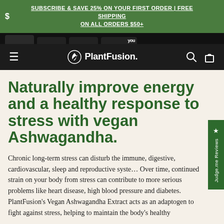$ SUBSCRIBE & SAVE 25% ON YOUR FIRST ORDER | FREE SHIPPING ON ALL ORDERS $50+
[Figure (logo): PlantFusion logo with leaf icon in white on dark navbar]
Naturally improve energy and a healthy response to stress with vegan Ashwagandha.
Chronic long-term stress can disturb the immune, digestive, cardiovascular, sleep and reproductive syste… Over time, continued strain on your body from stress can contribute to more serious problems like heart disease, high blood pressure and diabetes. PlantFusion's Vegan Ashwagandha Extract acts as an adaptogen to fight against stress, helping to maintain the body's healthy